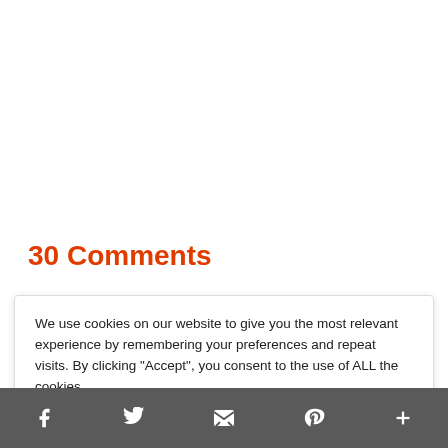30 Comments
We use cookies on our website to give you the most relevant experience by remembering your preferences and repeat visits. By clicking “Accept”, you consent to the use of ALL the cookies.
Do not sell my personal information
Cookie Settings  Accept
[social icons: Facebook, Twitter, Email, Pinterest, Plus]